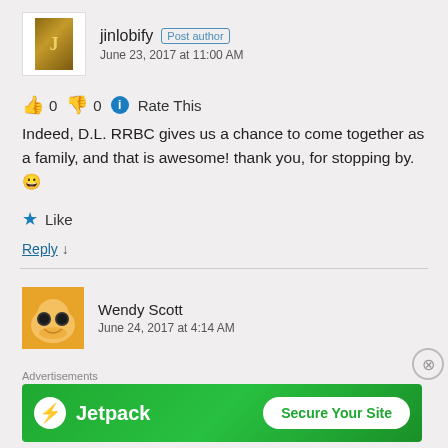jinlobify  Post author
June 23, 2017 at 11:00 AM
👍 0 👎 0 ℹ Rate This
Indeed, D.L. RRBC gives us a chance to come together as a family, and that is awesome! thank you, for stopping by. 😀
★ Like
Reply ↓
Wendy Scott
June 24, 2017 at 4:14 AM
Advertisements
[Figure (infographic): Jetpack advertisement banner with green background, Jetpack logo, and 'Secure Your Site' button]